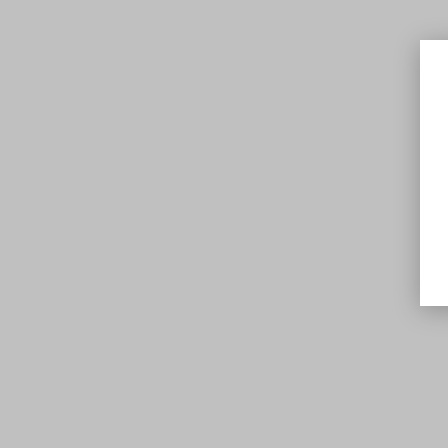19.04.2013. Semina
Lai šī tīmek|vietne darbotos, tā papildus šajā vietnē var tikt izm
Piekrist visām
Atvērt iestatījumus
Andris Urtāns, NAT